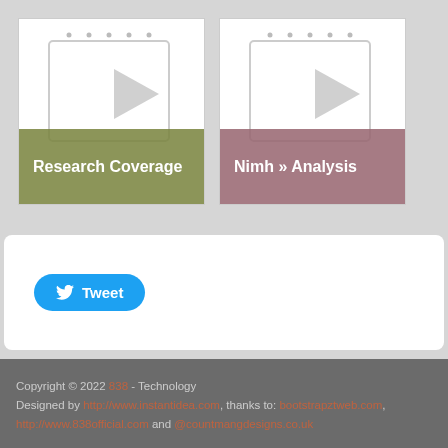[Figure (screenshot): Card thumbnail for Research Coverage - notebook icon on white background with olive-green label]
[Figure (screenshot): Card thumbnail for Nimh Analysis - notebook icon on white background with mauve/dusty rose label]
[Figure (screenshot): Tweet button widget - white rounded rectangle containing a blue Tweet button with Twitter bird icon]
Copyright © 2022 838 - Technology
Designed by http://www.instantidea.com, thanks to: bootstrapztweb.com, http://www.838official.com and @countmangdesigns.co.uk